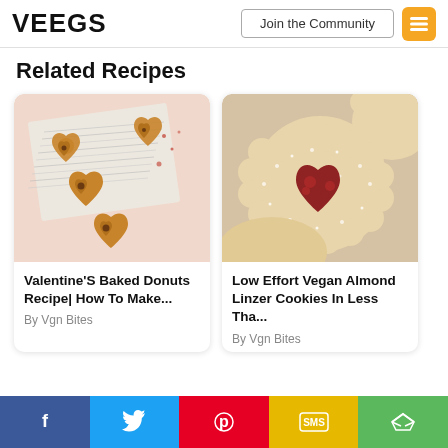VEEGS | Join the Community
Related Recipes
[Figure (photo): Valentine's baked donuts on newspaper, heart-shaped cookies with chocolate chips, pink background]
Valentine'S Baked Donuts Recipe| How To Make...
By Vgn Bites
[Figure (photo): Vegan almond linzer cookie dusted with powdered sugar, heart-shaped red berry center]
Low Effort Vegan Almond Linzer Cookies In Less Tha...
By Vgn Bites
f | Twitter | Pinterest | SMS | Share